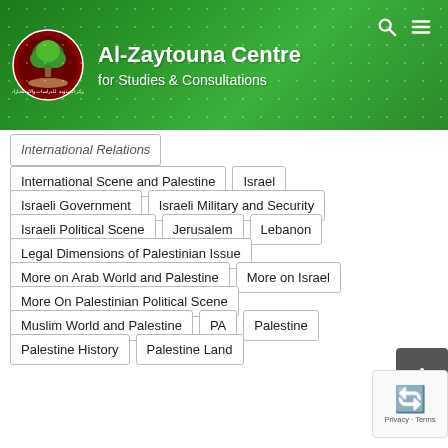[Figure (logo): Al-Zaytouna Centre for Studies & Consultations website screenshot with green header, logo, navigation tags]
Al-Zaytouna Centre
for Studies & Consultations
International Relations
International Scene and Palestine
Israel
Israeli Government
Israeli Military and Security
Israeli Political Scene
Jerusalem
Lebanon
Legal Dimensions of Palestinian Issue
More on Arab World and Palestine
More on Israel
More On Palestinian Political Scene
Muslim World and Palestine
PA
Palestine
Palestine History
Palestine Land